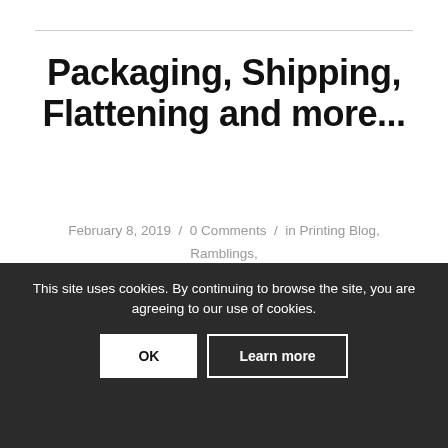Packaging, Shipping, Flattening and more...
February 8, 2019 / 0 Comments / in Printing Blog, Ramblings, Uncategorized / by John Botton
If you're having your artwork reproduced in order to sell prints, then it's critical that you package it well to prevent any damage to the prints.
Read more ›
This site uses cookies. By continuing to browse the site, you are agreeing to our use of cookies.
OK
Learn more
Photographing Your